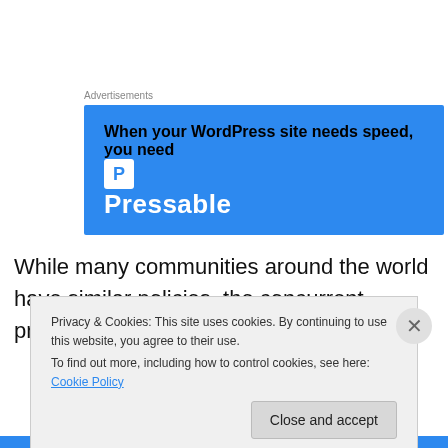Advertisements
[Figure (infographic): Blue advertisement banner for Pressable WordPress hosting: 'When your WordPress site needs speed, you need Pressable' with logo icon]
While many communities around the world have similar policies, the concurrent problem has always been
Privacy & Cookies: This site uses cookies. By continuing to use this website, you agree to their use.
To find out more, including how to control cookies, see here: Cookie Policy
Close and accept